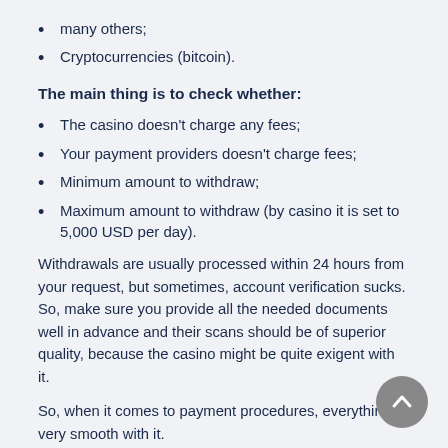many others;
Cryptocurrencies (bitcoin).
The main thing is to check whether:
The casino doesn't charge any fees;
Your payment providers doesn't charge fees;
Minimum amount to withdraw;
Maximum amount to withdraw (by casino it is set to 5,000 USD per day).
Withdrawals are usually processed within 24 hours from your request, but sometimes, account verification sucks. So, make sure you provide all the needed documents well in advance and their scans should be of superior quality, because the casino might be quite exigent with it.
So, when it comes to payment procedures, everything is very smooth with it.